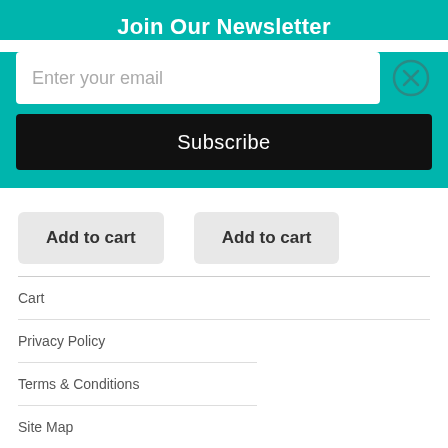Join Our Newsletter
Enter your email
Subscribe
Add to cart
Add to cart
Cart
Privacy Policy
Terms & Conditions
Site Map